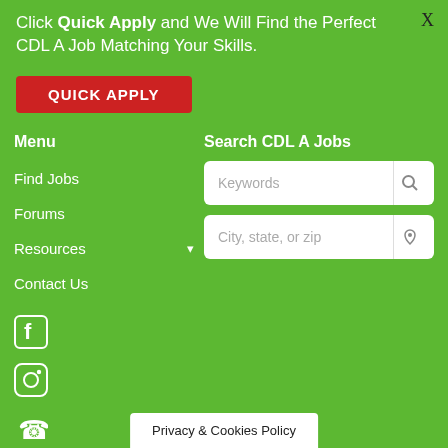Click Quick Apply and We Will Find the Perfect CDL A Job Matching Your Skills.
[Figure (other): Red Quick Apply button]
Menu
Search CDL A Jobs
Find Jobs
Forums
Resources
Contact Us
[Figure (other): Facebook icon]
[Figure (other): Instagram icon]
[Figure (other): Phone icon]
Company
Privacy & Cookies Policy